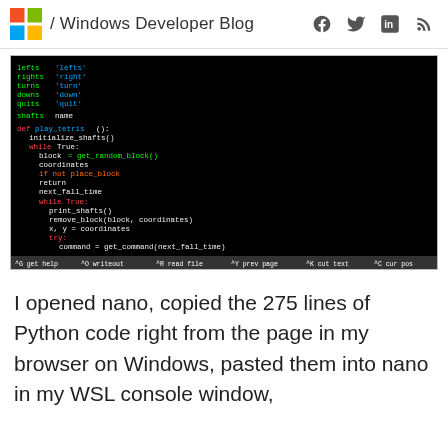/ Windows Developer Blog
[Figure (screenshot): A terminal/nano text editor window on a black background showing Python code with syntax highlighting in green, red, and cyan colors. The code appears to be a Tetris-like game implementation with functions for placing blocks, handling commands (left, right, turn, down, quit), and game loop logic. Status bar visible at bottom of editor.]
I opened nano, copied the 275 lines of Python code right from the page in my browser on Windows, pasted them into nano in my WSL console window,